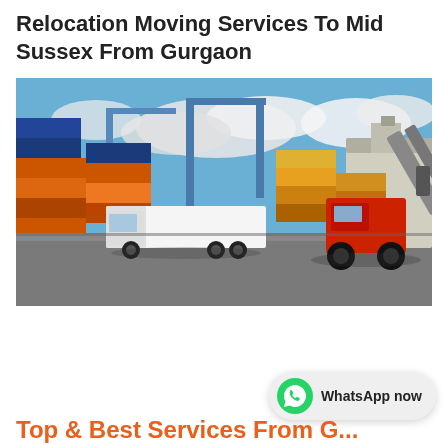Relocation Moving Services To Mid Sussex From Gurgaon
[Figure (photo): A port/shipping yard scene with stacks of colorful cargo containers, a white truck, a large red reach stacker (container handler), blue cranes, a ship, and a cloudy blue sky.]
WhatsApp now
Top & Best Services From G...